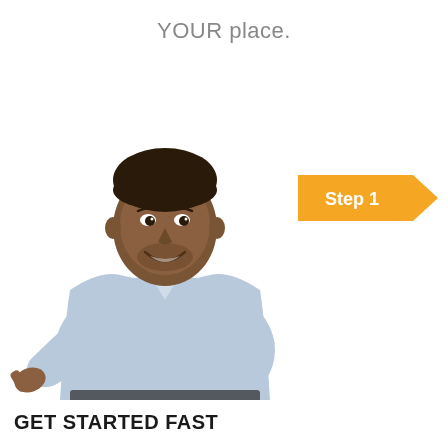YOUR place.
[Figure (photo): A smiling man in a light blue dress shirt pointing toward the viewer with his right hand, shown from roughly waist up against a white background.]
[Figure (infographic): Orange arrow/chevron badge with white bold text reading 'Step 1']
GET STARTED FAST